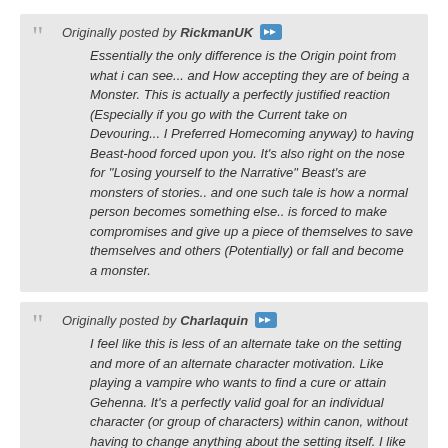Originally posted by RickmanUK ▶▶
Essentially the only difference is the Origin point from what i can see... and How accepting they are of being a Monster. This is actually a perfectly justified reaction (Especially if you go with the Current take on Devouring... I Preferred Homecoming anyway) to having Beast-hood forced upon you. It's also right on the nose for "Losing yourself to the Narrative" Beast's are monsters of stories.. and one such tale is how a normal person becomes something else.. is forced to make compromises and give up a piece of themselves to save themselves and others (Potentially) or fall and become a monster.
Originally posted by Charlaquin ▶▶
I feel like this is less of an alternate take on the setting and more of an alternate character motivation. Like playing a vampire who wants to find a cure or attain Gehenna. It's a perfectly valid goal for an individual character (or group of characters) within canon, without having to change anything about the setting itself. I like it!
Honestly, I wasn't expecting this kinda reaction, but I'll take it! 🙂
Anyways, now that I think about it, it's not so much a change of setting as it is a change of themes. That said, it's a complete reversal. Rather